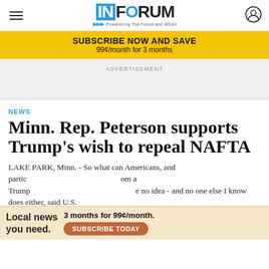INFORUM - Powered by The Forum and WDAY
SUBSCRIBE NOW AND SAVE
99¢/month for 3 months
ADVERTISEMENT
NEWS
Minn. Rep. Peterson supports Trump's wish to repeal NAFTA
LAKE PARK, Minn. - So what can Americans, and particularly... from a Trump... have no idea - and no one else I know does either, said U.S.
Local news you need. 3 months for 99¢/month. SUBSCRIBE TODAY